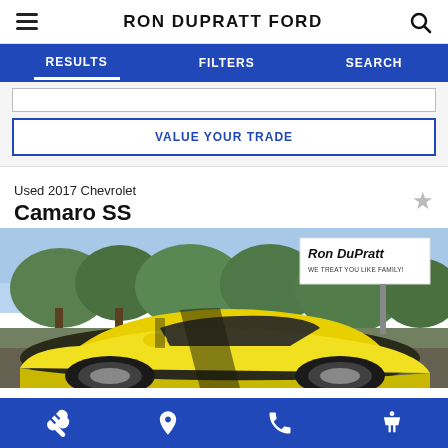RON DUPRATT FORD
RESULTS  FILTERS  SEARCH
VALUE YOUR TRADE
Used 2017 Chevrolet
Camaro SS
[Figure (photo): Yellow 2017 Chevrolet Camaro SS at Ron DuPratt Ford dealership. The car is shown from a front-three-quarter angle with trees in the background and a Ron DuPratt 'WE TREAT YOU LIKE FAMILY!' dealer sign visible.]
Service  Location  Phone  Accessibility